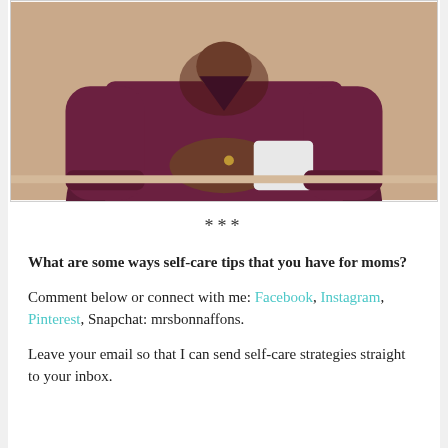[Figure (photo): A woman wearing a dark burgundy/maroon long-sleeve sweater, seated, with her hands clasped in front of her, holding a white object. She is photographed from the torso up against a light beige wall background.]
***
What are some ways self-care tips that you have for moms?
Comment below or connect with me: Facebook, Instagram, Pinterest, Snapchat: mrsbonnaffons.
Leave your email so that I can send self-care strategies straight to your inbox.